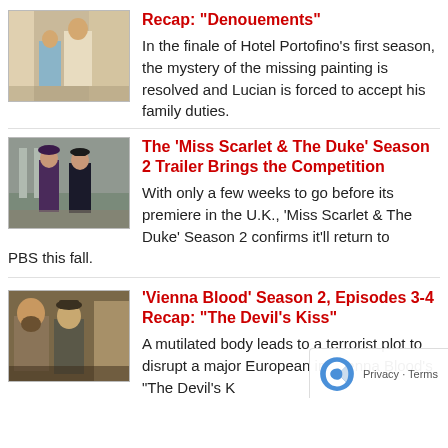[Figure (photo): Two people in period costume, man in light suit and woman in blue dress, standing in front of a building]
Recap: "Denouements"
In the finale of Hotel Portofino's first season, the mystery of the missing painting is resolved and Lucian is forced to accept his family duties.
[Figure (photo): Two people in Victorian-era costumes on a street, woman in dark dress and man in dark coat and bowler hat]
The 'Miss Scarlet & The Duke' Season 2 Trailer Brings the Competition
With only a few weeks to go before its premiere in the U.K., 'Miss Scarlet & The Duke' Season 2 confirms it'll return to PBS this fall.
[Figure (photo): Two men in period clothing, one with beard and one younger man, in a dramatic scene]
'Vienna Blood' Season 2, Episodes 3-4 Recap: "The Devil's Kiss"
A mutilated body leads to a terrorist plot to disrupt a major European in 'Vienna Blood's "The Devil's K